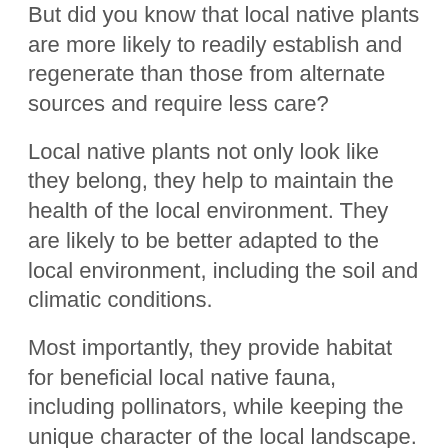But did you know that local native plants are more likely to readily establish and regenerate than those from alternate sources and require less care?
Local native plants not only look like they belong, they help to maintain the health of the local environment. They are likely to be better adapted to the local environment, including the soil and climatic conditions.
Most importantly, they provide habitat for beneficial local native fauna, including pollinators, while keeping the unique character of the local landscape.
If you would like to learn how to harvest your own native plant seeds Watershed Landcare will be holding a mornings seed collection workshop on Saturday, 3 December, at Rylstone. A follow up propagation workshop will be held in the New Year.
For further information or to RSVP contact Agness